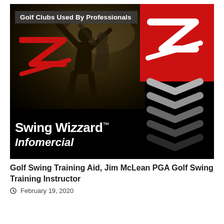[Figure (screenshot): Thumbnail image for a video about Swing Wizzard golf training aid infomercial featuring Jim McLean PGA Golf Swing Training Instructor. Black background with red box containing a stylized Z logo, golfer silhouette, Swing Wizzard brand name in white, Infomercial text in italic, chevron arrows on right, and a header label 'Golf Clubs Used By Professionals'.]
Golf Swing Training Aid, Jim McLean PGA Golf Swing Training Instructor
February 19, 2020